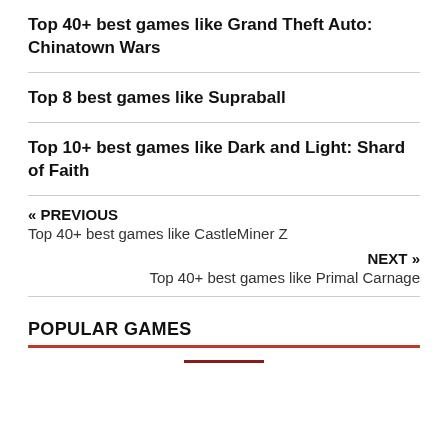Top 40+ best games like Grand Theft Auto: Chinatown Wars
Top 8 best games like Supraball
Top 10+ best games like Dark and Light: Shard of Faith
« PREVIOUS
Top 40+ best games like CastleMiner Z
NEXT »
Top 40+ best games like Primal Carnage
POPULAR GAMES